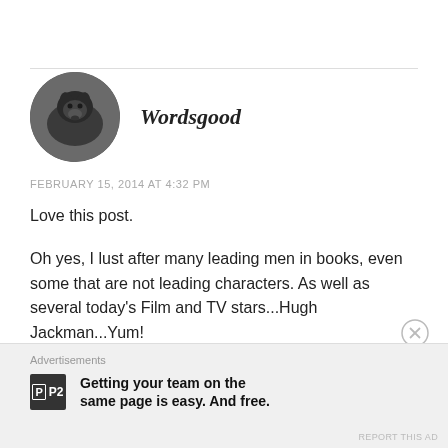[Figure (photo): Circular avatar image of a black dog]
Wordsgood
FEBRUARY 15, 2014 AT 4:32 PM
Love this post.

Oh yes, I lust after many leading men in books, even some that are not leading characters. As well as several today’s Film and TV stars...Hugh Jackman...Yum!
Advertisements
[Figure (logo): P2 logo icon — dark square with letter P and P2 text]
Getting your team on the same page is easy. And free.